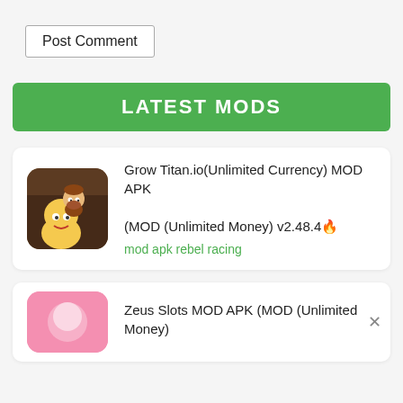Post Comment
LATEST MODS
[Figure (illustration): Game thumbnail for Grow Titan.io showing cartoon characters]
Grow Titan.io(Unlimited Currency) MOD APK (MOD (Unlimited Money) v2.48.4
mod apk rebel racing
[Figure (illustration): Pink game thumbnail for Zeus Slots]
Zeus Slots MOD APK (MOD (Unlimited Money)